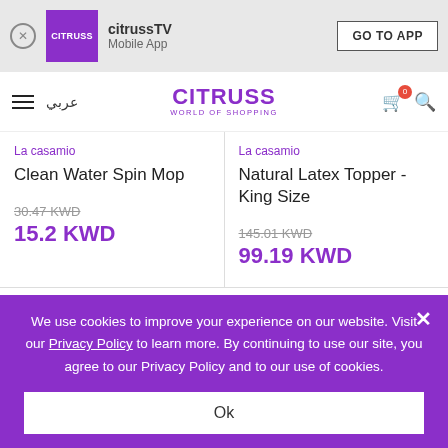[Figure (screenshot): Citruss TV mobile app banner with logo, app name, and GO TO APP button]
[Figure (logo): CITRUSS WORLD OF SHOPPING logo in purple]
La casamio
Clean Water Spin Mop
30.47 KWD
15.2 KWD
La casamio
Natural Latex Topper - King Size
145.01 KWD
99.19 KWD
SHOP BY BRAND
We use cookies to improve your experience on our website. Visit our Privacy Policy to learn more. By continuing to use our site, you agree to our Privacy Policy and to our use of cookies.